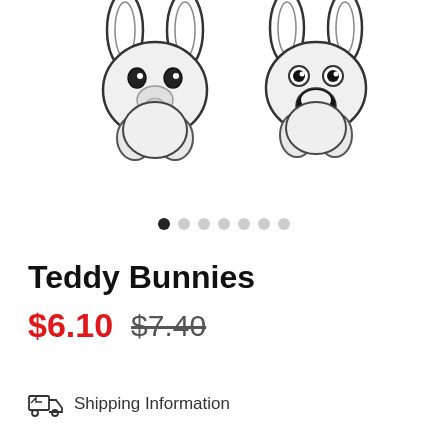[Figure (illustration): Two illustrated teddy bunny plush toys shown from front view, rendered in black and white sketch style. Left bunny has large floppy ears and round nose. Right bunny has open mouth and round eyes.]
• (carousel navigation dots: 1 active, 6 inactive)
Teddy Bunnies
$6.10  $7.40
Shipping Information